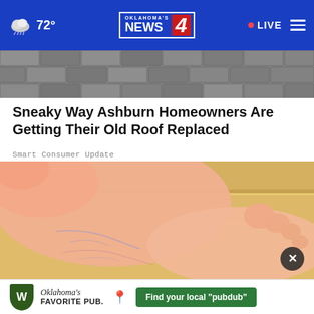Oklahoma's News 4 — 72° — LIVE
[Figure (photo): Gray roof shingles close-up]
Sneaky Way Ashburn Homeowners Are Getting Their Old Roof Replaced
Smart Consumer Update
[Figure (photo): Close-up of a person's foot and lower leg showing veins]
[Figure (other): Advertisement banner: Oklahoma's Favorite Pub — Find your local 'pubdub']